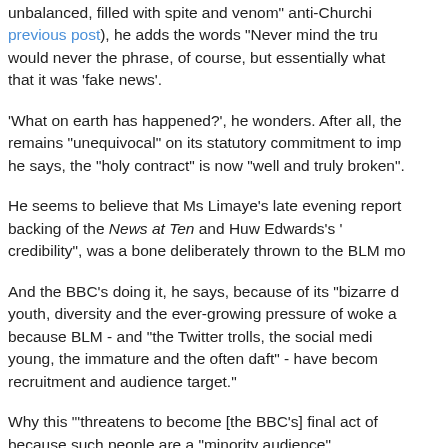unbalanced, filled with spite and venom" anti-Churchi... previous post), he adds the words "Never mind the tru... would never the phrase, of course, but essentially what... that it was 'fake news'.
'What on earth has happened?', he wonders. After all, the... remains "unequivocal" on its statutory commitment to imp... he says, the "holy contract" is now "well and truly broken".
He seems to believe that Ms Limaye's late evening report... backing of the News at Ten and Huw Edwards's '... credibility", was a bone deliberately thrown to the BLM mo...
And the BBC's doing it, he says, because of its "bizarre d... youth, diversity and the ever-growing pressure of woke a... because BLM - and "the Twitter trolls, the social medi... young, the immature and the often daft" - have becom... recruitment and audience target."
Why this "'threatens to become [the BBC's] final act of... because such people are a "minority audience".